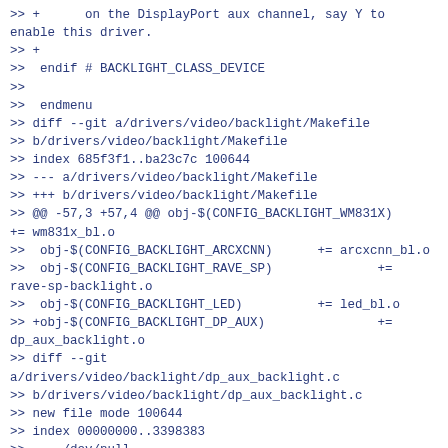>> +      on the DisplayPort aux channel, say Y to enable this driver.
>> +
>>   endif # BACKLIGHT_CLASS_DEVICE
>>
>>   endmenu
>> diff --git a/drivers/video/backlight/Makefile
>> b/drivers/video/backlight/Makefile
>> index 685f3f1..ba23c7c 100644
>> --- a/drivers/video/backlight/Makefile
>> +++ b/drivers/video/backlight/Makefile
>> @@ -57,3 +57,4 @@ obj-$(CONFIG_BACKLIGHT_WM831X) += wm831x_bl.o
>>   obj-$(CONFIG_BACKLIGHT_ARCXCNN)      += arcxcnn_bl.o
>>   obj-$(CONFIG_BACKLIGHT_RAVE_SP)              += rave-sp-backlight.o
>>   obj-$(CONFIG_BACKLIGHT_LED)          += led_bl.o
>> +obj-$(CONFIG_BACKLIGHT_DP_AUX)               += dp_aux_backlight.o
>> diff --git a/drivers/video/backlight/dp_aux_backlight.c
>> b/drivers/video/backlight/dp_aux_backlight.c
>> new file mode 100644
>> index 00000000..3398383
>> --- /dev/null
>> +++ b/drivers/video/backlight/dp_aux_backlight.c
>> @@ -0,0 +1,245 @@
>> +// SPDX-License-Identifier: GPL-2.0
>> +/*
>> + * Backlight driver to control the brightness over